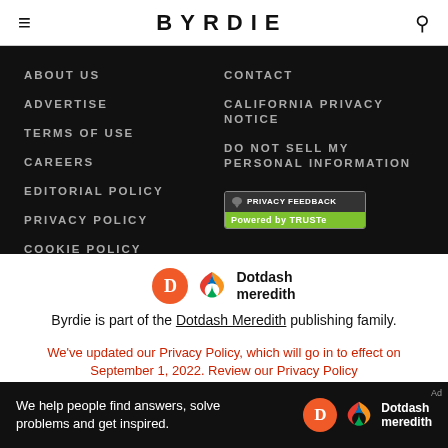BYRDIE
ABOUT US
ADVERTISE
TERMS OF USE
CAREERS
EDITORIAL POLICY
PRIVACY POLICY
COOKIE POLICY
CONTACT
CALIFORNIA PRIVACY NOTICE
DO NOT SELL MY PERSONAL INFORMATION
[Figure (logo): TRUSTe Privacy Feedback badge - dark top with speech bubble icon and text PRIVACY FEEDBACK, green bottom with Powered by TRUSTe]
[Figure (logo): Dotdash Meredith logo - orange D circle, colorful knot icon, and Dotdash meredith text]
Byrdie is part of the Dotdash Meredith publishing family.
We've updated our Privacy Policy, which will go in to effect on September 1, 2022. Review our Privacy Policy
[Figure (infographic): Dark banner ad: We help people find answers, solve problems and get inspired. Dotdash meredith logo on the right.]